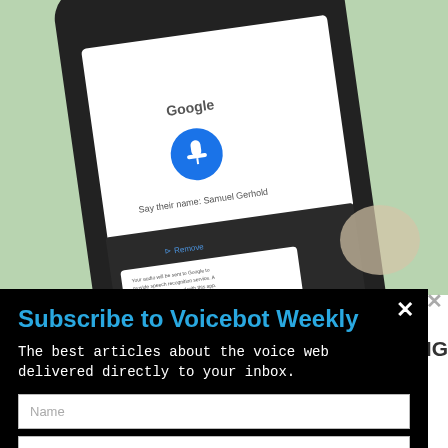[Figure (screenshot): A smartphone on a light green surface displaying a Google voice recognition interface with a blue microphone button and text 'Say their name: Samuel Gerhold'. Below are options including 'Remove' and a text block about audio data being sent to Google.]
Subscribe to Voicebot Weekly
The best articles about the voice web delivered directly to your inbox.
N NAME STANDING
spronounce anymore.